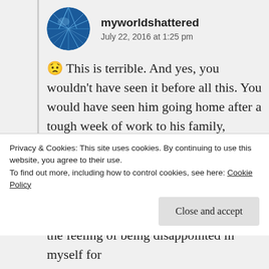[Figure (illustration): Circular avatar image with blue shattered glass or cracked earth pattern]
myworldshattered
July 22, 2016 at 1:25 pm
😟 This is terrible. And yes, you wouldn't have seen it before all this. You would have seen him going home after a tough week of work to his family, maybe you would have caught a glimpse of his wife picking him up at the airport in her SUV. And now, you see the betrayal, his dark side. Your husband. My husband. So, so, so very sad. There's a woman out there who will sooner
Privacy & Cookies: This site uses cookies. By continuing to use this website, you agree to their use.
To find out more, including how to control cookies, see here: Cookie Policy
Close and accept
the feeling of being disappointed in myself for